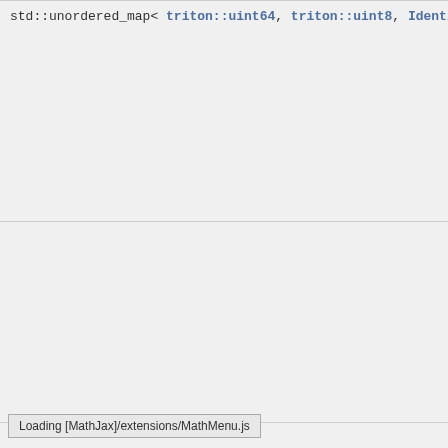std::unordered_map< triton::uint64, triton::uint8, IdentityHash< tri
Loading [MathJax]/extensions/MathMenu.js